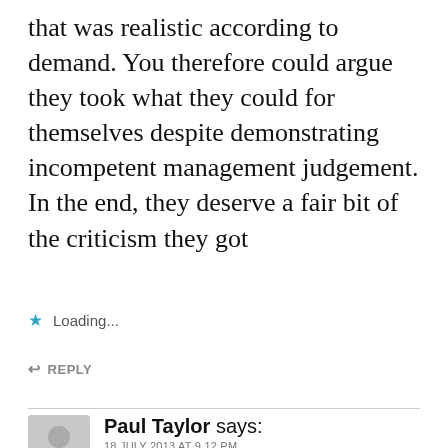that was realistic according to demand. You therefore could argue they took what they could for themselves despite demonstrating incompetent management judgement. In the end, they deserve a fair bit of the criticism they got
Loading...
REPLY
Paul Taylor says:
18 JULY 2013 AT 9.12 PM
@ 21
I think you are right, and the Chinese did